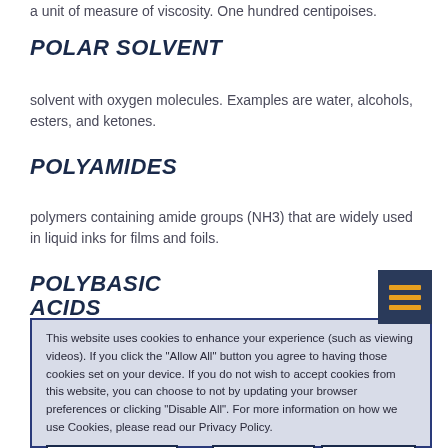a unit of measure of viscosity. One hundred centipoises.
POLAR SOLVENT
solvent with oxygen molecules. Examples are water, alcohols, esters, and ketones.
POLYAMIDES
polymers containing amide groups (NH3) that are widely used in liquid inks for films and foils.
POLYBASIC ACIDS
This website uses cookies to enhance your experience (such as viewing videos). If you click the "Allow All" button you agree to having those cookies set on your device. If you do not wish to accept cookies from this website, you can choose to not by updating your browser preferences or clicking "Disable All". For more information on how we use Cookies, please read our Privacy Policy.